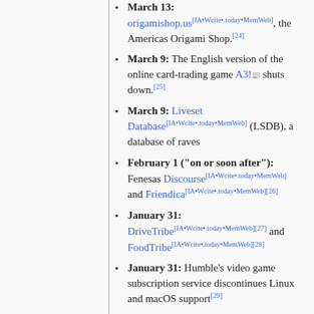March 13: origamishop.us[IA•Wcite•.today•MemWeb], the Americas Origami Shop.[24]
March 9: The English version of the online card-trading game A3! shuts down.[25]
March 9: Liveset Database[IA•Wcite•.today•MemWeb] (LSDB), a database of raves
February 1 ("on or soon after"): Fenesas Discourse[IA•Wcite•.today•MemWeb] and Friendica[IA•Wcite•.today•MemWeb][26]
January 31: DriveTribe[IA•Wcite•.today•MemWeb][27] and FoodTribe[IA•Wcite•.today•MemWeb][28]
January 31: Humble's video game subscription service discontinues Linux and macOS support[29]